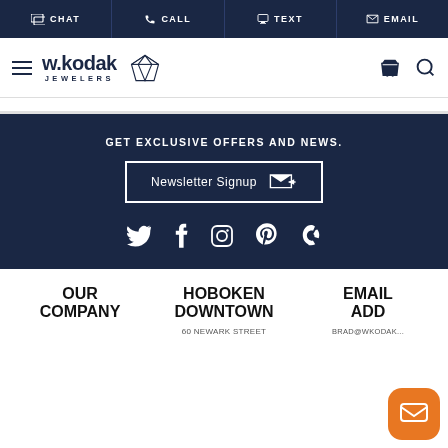CHAT | CALL | TEXT | EMAIL
[Figure (logo): w.kodak JEWELERS logo with diamond icon, hamburger menu, cart and search icons]
GET EXCLUSIVE OFFERS AND NEWS.
Newsletter Signup
[Figure (infographic): Social media icons: Twitter, Facebook, Instagram, Pinterest, Yelp]
OUR COMPANY
HOBOKEN DOWNTOWN
EMAIL ADDRESS
60 NEWARK STREET
BRAD@WKODAK...